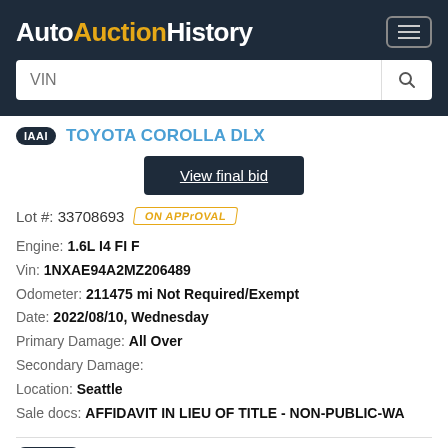AutoAuctionHistory
TOYOTA COROLLA DLX
View final bid
Lot #: 33708693 ON APPrOVAL
Engine: 1.6L I4 FI F
Vin: 1NXAE94A2MZ206489
Odometer: 211475 mi Not Required/Exempt
Date: 2022/08/10, Wednesday
Primary Damage: All Over
Secondary Damage:
Location: Seattle
Sale docs: AFFIDAVIT IN LIEU OF TITLE - NON-PUBLIC-WA
1991 TOYOTA COROLLA